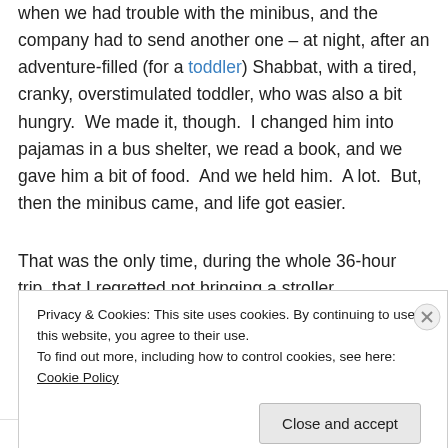when we had trouble with the minibus, and the company had to send another one – at night, after an adventure-filled (for a toddler) Shabbat, with a tired, cranky, overstimulated toddler, who was also a bit hungry.  We made it, though.  I changed him into pajamas in a bus shelter, we read a book, and we gave him a bit of food.  And we held him.  A lot.  But, then the minibus came, and life got easier.
That was the only time, during the whole 36-hour trip, that I regretted not bringing a stroller.
Privacy & Cookies: This site uses cookies. By continuing to use this website, you agree to their use.
To find out more, including how to control cookies, see here: Cookie Policy